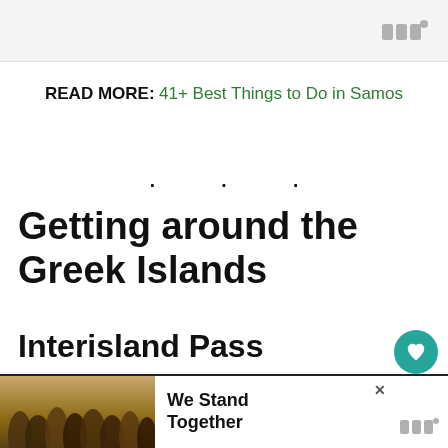READ MORE: 41+ Best Things to Do in Samos
· · ·
Getting around the Greek Islands
Interisland Pass
[Figure (other): Advertisement banner for interisland ferry pass: Paros·Naxos·Ios·Santorini with ferry illustration and price]
[Figure (photo): Bottom advertisement showing group of people from behind with text 'We Stand Together']